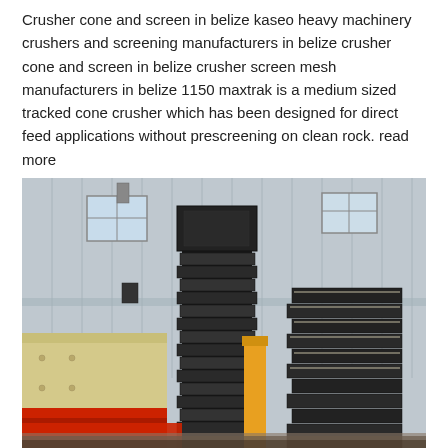Crusher cone and screen in belize kaseo heavy machinery crushers and screening manufacturers in belize crusher cone and screen in belize crusher screen mesh manufacturers in belize 1150 maxtrak is a medium sized tracked cone crusher which has been designed for direct feed applications without prescreening on clean rock. read more
[Figure (photo): Industrial photograph showing heavy machinery components including large black and beige/cream colored crusher/screening equipment inside a factory warehouse with corrugated metal walls and windows. Equipment includes stacked black metal parts and a beige machine body with red base/collar visible on the left side.]